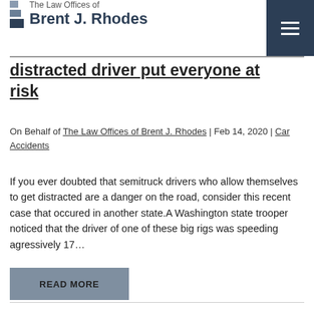The Law Offices of Brent J. Rhodes
...distracted driver put everyone at risk
On Behalf of The Law Offices of Brent J. Rhodes | Feb 14, 2020 | Car Accidents
If you ever doubted that semitruck drivers who allow themselves to get distracted are a danger on the road, consider this recent case that occured in another state.A Washington state trooper noticed that the driver of one of these big rigs was speeding agressively 17...
READ MORE